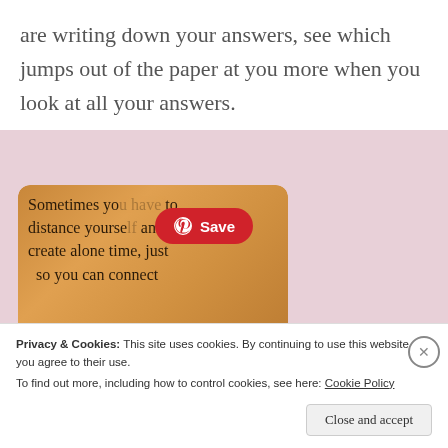are writing down your answers, see which jumps out of the paper at you more when you look at all your answers.
[Figure (photo): An image with orange/golden background showing text: 'Sometimes you have to distance yourself and create alone time, just so you can connect' with a red Pinterest Save button overlaid on top.]
Privacy & Cookies: This site uses cookies. By continuing to use this website, you agree to their use.
To find out more, including how to control cookies, see here: Cookie Policy
Close and accept